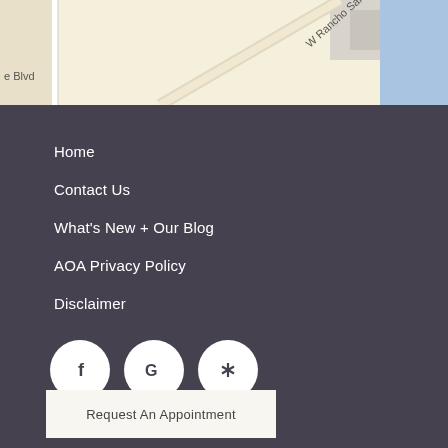[Figure (map): Partial Google Maps view showing W Rancho Santa Fe Blvd street label and surrounding road layout with beige/cream background and a blue area in the top right corner. Left edge shows partial text 'e Blvd'.]
Home
Contact Us
What's New + Our Blog
AOA Privacy Policy
Disclaimer
[Figure (other): Three circular white social media icons on dark background: Facebook (f), Google (G), and Yelp (asterisk/burst symbol)]
Request An Appointment